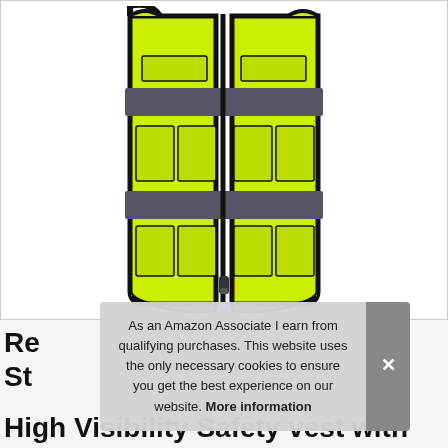[Figure (photo): A yellow-green high visibility safety vest with reflective gray horizontal stripes and a black zipper front closure. The vest has multiple pockets on the front and black trim. Shown from the front against a white background.]
As an Amazon Associate I earn from qualifying purchases. This website uses the only necessary cookies to ensure you get the best experience on our website. More information
Re... Str... High Visibility Safety Vest with Pockets